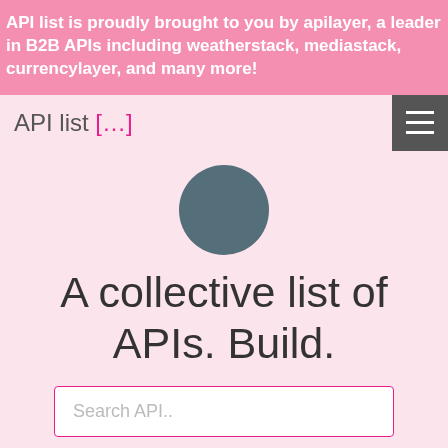API list is proudly brought to you by apilayer, a leader in B2B APIs including weatherstack, mediastack, currencylayer, and many more!
API list [...]
[Figure (illustration): Dark grey circular icon/avatar placeholder]
A collective list of APIs. Build.
Search API..